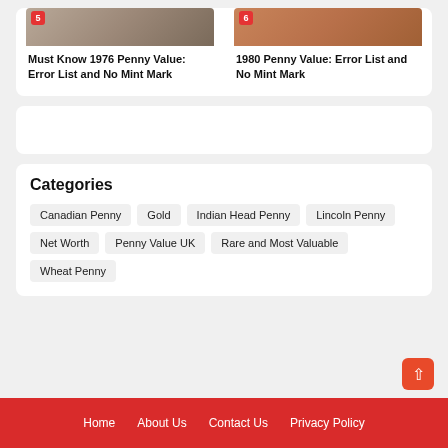Must Know 1976 Penny Value: Error List and No Mint Mark
1980 Penny Value: Error List and No Mint Mark
Categories
Canadian Penny
Gold
Indian Head Penny
Lincoln Penny
Net Worth
Penny Value UK
Rare and Most Valuable
Wheat Penny
Home   About Us   Contact Us   Privacy Policy